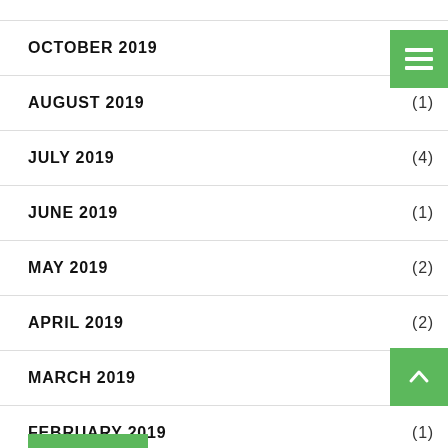OCTOBER 2019 (0)
AUGUST 2019 (1)
JULY 2019 (4)
JUNE 2019 (1)
MAY 2019 (2)
APRIL 2019 (2)
MARCH 2019 (2)
FEBRUARY 2019 (1)
JANUARY 2019 (1)